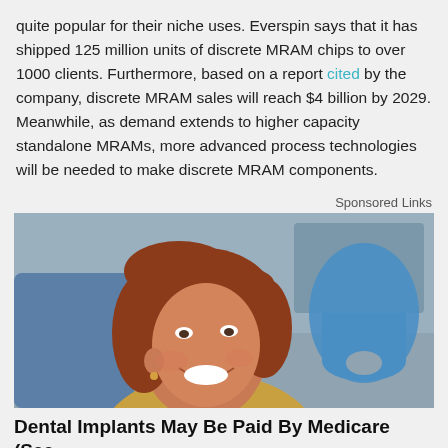quite popular for their niche uses. Everspin says that it has shipped 125 million units of discrete MRAM chips to over 1000 clients. Furthermore, based on a report cited by the company, discrete MRAM sales will reach $4 billion by 2029. Meanwhile, as demand extends to higher capacity standalone MRAMs, more advanced process technologies will be needed to make discrete MRAM components.
Sponsored Links
[Figure (photo): A smiling red-haired woman sitting in a dental chair, holding a blue tooth-shaped mirror or dental prop, set in a clinical environment.]
Dental Implants May Be Paid By Medicare (See